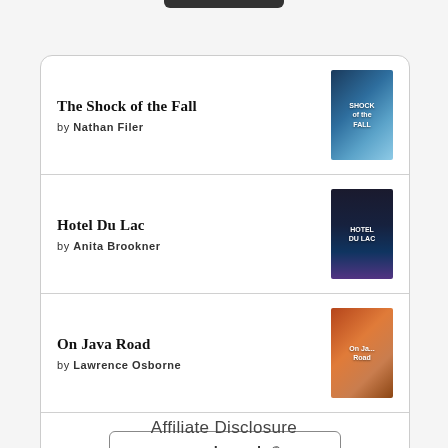The Shock of the Fall by Nathan Filer
Hotel Du Lac by Anita Brookner
On Java Road by Lawrence Osborne
[Figure (logo): goodreads logo button with rounded rectangle border]
Affiliate Disclosure